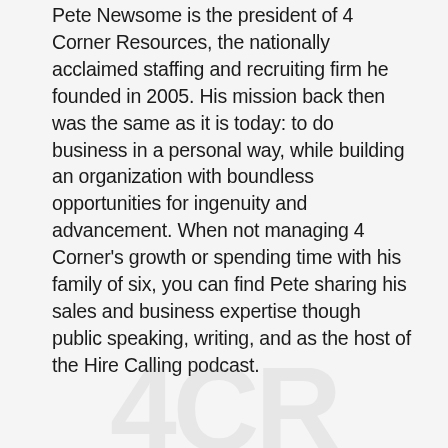Pete Newsome is the president of 4 Corner Resources, the nationally acclaimed staffing and recruiting firm he founded in 2005. His mission back then was the same as it is today: to do business in a personal way, while building an organization with boundless opportunities for ingenuity and advancement. When not managing 4 Corner's growth or spending time with his family of six, you can find Pete sharing his sales and business expertise though public speaking, writing, and as the host of the Hire Calling podcast.